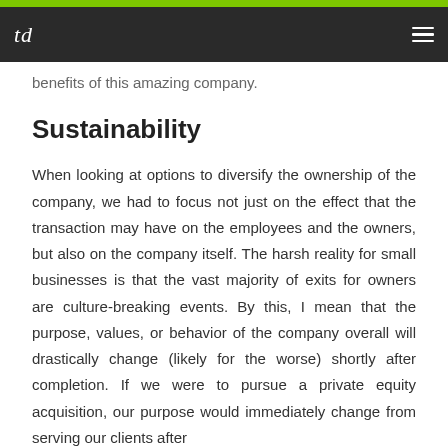td
benefits of this amazing company.
Sustainability
When looking at options to diversify the ownership of the company, we had to focus not just on the effect that the transaction may have on the employees and the owners, but also on the company itself. The harsh reality for small businesses is that the vast majority of exits for owners are culture-breaking events. By this, I mean that the purpose, values, or behavior of the company overall will drastically change (likely for the worse) shortly after completion. If we were to pursue a private equity acquisition, our purpose would immediately change from serving our clients after